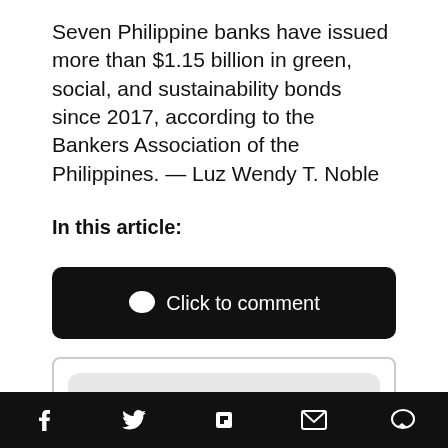Seven Philippine banks have issued more than $1.15 billion in green, social, and sustainability bonds since 2017, according to the Bankers Association of the Philippines. — Luz Wendy T. Noble
In this article:
[Figure (other): Black rounded button with speech bubble icon and text 'Click to comment']
[Figure (other): Promotional box with text 'Get the daily email that makes reading the news actually enjoyable. Stay informed and entertained, for free']
Bottom navigation bar with social share icons: Facebook, Twitter, Flipboard, Email, Comment